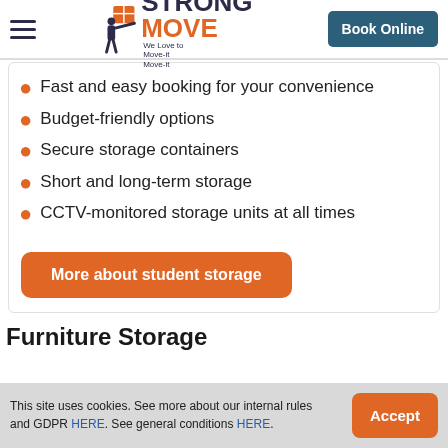Strong Move — Book Online
Fast and easy booking for your convenience
Budget-friendly options
Secure storage containers
Short and long-term storage
CCTV-monitored storage units at all times
More about student storage
Furniture Storage
This site uses cookies. See more about our internal rules and GDPR HERE. See general conditions HERE.